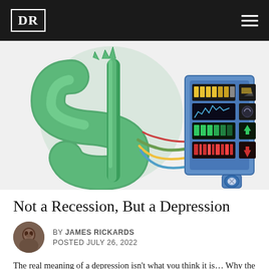DR
[Figure (illustration): A large green inflatable dollar sign connected by wires to a blue electronic control panel with colorful indicator bars and gauges, suggesting the economy on life support or being monitored/controlled.]
Not a Recession, But a Depression
BY JAMES RICKARDS
POSTED JULY 26, 2022
The real meaning of a depression isn't what you think it is… Why the New Great Depression isn't ending anytime soon…